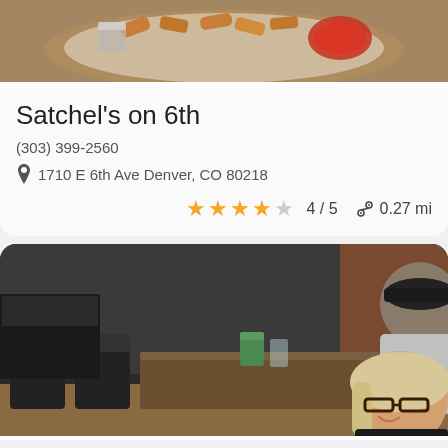[Figure (photo): Food photo showing fried food and dipping sauce on a white plate]
Satchel's on 6th
(303) 399-2560
1710 E 6th Ave Denver, CO 80218
4 / 5   0.27 mi
[Figure (photo): Interior of a coffee shop with people sitting at tables; a man in a cap looking at his phone and a blonde woman smiling at the camera]
Novo Coffee